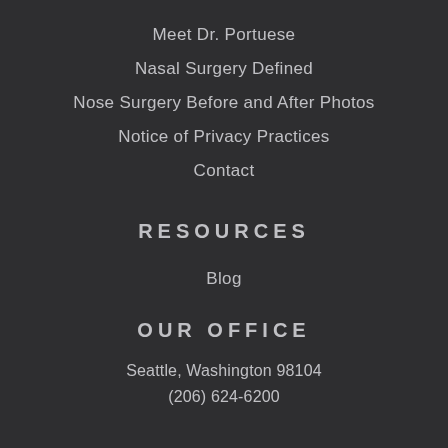Meet Dr. Portuese
Nasal Surgery Defined
Nose Surgery Before and After Photos
Notice of Privacy Practices
Contact
RESOURCES
Blog
OUR OFFICE
Seattle, Washington 98104
(206) 624-6200